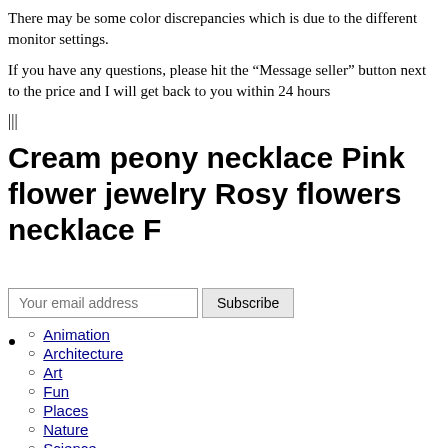There may be some color discrepancies which is due to the different monitor settings.
If you have any questions, please hit the “Message seller” button next to the price and I will get back to you within 24 hours
|||
Cream peony necklace Pink flower jewelry Rosy flowers necklace F
Your email address  Subscribe
Animation
Architecture
Art
Fun
Places
Nature
Science